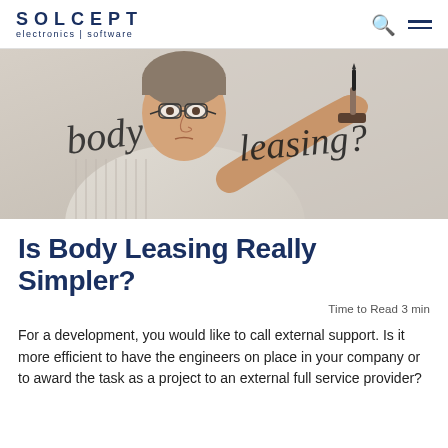SOLCEPT electronics | software
[Figure (photo): Man writing 'body leasing?' on a glass surface with a marker, looking at it thoughtfully]
Is Body Leasing Really Simpler?
Time to Read 3 min
For a development, you would like to call external support. Is it more efficient to have the engineers on place in your company or to award the task as a project to an external full service provider?